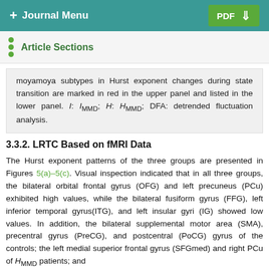+ Journal Menu   PDF ↓
Article Sections
moyamoya subtypes in Hurst exponent changes during state transition are marked in red in the upper panel and listed in the lower panel. I: I_MMD; H: H_MMD; DFA: detrended fluctuation analysis.
3.3.2. LRTC Based on fMRI Data
The Hurst exponent patterns of the three groups are presented in Figures 5(a)–5(c). Visual inspection indicated that in all three groups, the bilateral orbital frontal gyrus (OFG) and left precuneus (PCu) exhibited high values, while the bilateral fusiform gyrus (FFG), left inferior temporal gyrus(ITG), and left insular gyri (IG) showed low values. In addition, the bilateral supplemental motor area (SMA), precentral gyrus (PreCG), and postcentral (PoCG) gyrus of the controls; the left medial superior frontal gyrus (SFGmed) and right PCu of H_MMD patients; and